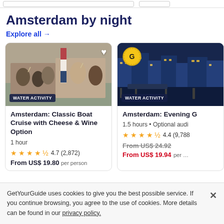Amsterdam by night
Explore all →
[Figure (photo): People on a boat cruise clinking wine glasses, Dutch flag visible, outdoors daytime. Badge: WATER ACTIVITY]
Amsterdam: Classic Boat Cruise with Cheese & Wine Option
1 hour
4.7 (2,872)
From US$ 19.80 per person
[Figure (photo): Amsterdam canal at night with lit buildings reflected in water. G badge (GetYourGuide). Badge: WATER ACTIVITY]
Amsterdam: Evening G
1.5 hours • Optional audi
4.4 (9,788
From US$ 24.92
From US$ 19.94 per
GetYourGuide uses cookies to give you the best possible service. If you continue browsing, you agree to the use of cookies. More details can be found in our privacy policy.